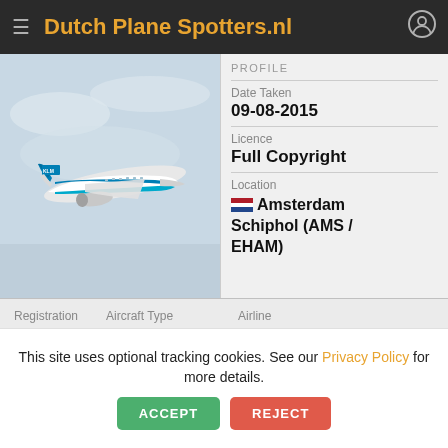Dutch Plane Spotters.nl
[Figure (photo): KLM Embraer 190 aircraft in flight against a cloudy sky, blue and white livery with KLM logo visible]
| PROFILE |
| --- |
| Date Taken | 09-08-2015 |
| Licence | Full Copyright |
| Location | Amsterdam Schiphol (AMS / EHAM) |
| Registration | Aircraft Type | Airline |
| --- | --- | --- |
| PH-EXD | Embraer 190 | KLM Cityhopper |
Remarks
This site uses optional tracking cookies. See our Privacy Policy for more details.
ACCEPT   REJECT